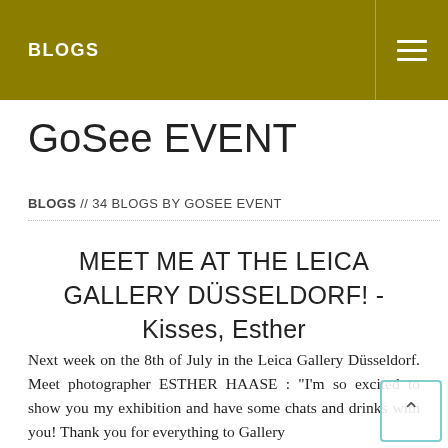BLOGS
GoSee EVENT
BLOGS // 34 BLOGS BY GOSEE EVENT
MEET ME AT THE LEICA GALLERY DÜSSELDORF! - Kisses, Esther
Next week on the 8th of July in the Leica Gallery Düsseldorf. Meet photographer ESTHER HAASE : "I'm so excited to show you my exhibition and have some chats and drinks with you! Thank you for everything to Gallery